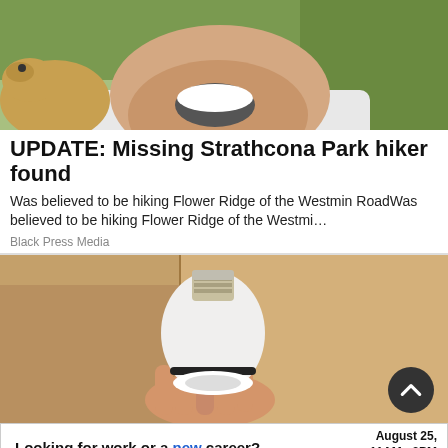[Figure (photo): Close-up photo of a young man laughing with a dog beside him outdoors]
UPDATE: Missing Strathcona Park hiker found
Was believed to be hiking Flower Ridge of the Westmin RoadWas believed to be hiking Flower Ridge of the Westmi…
Black Press Media
[Figure (photo): Hand holding a white smart LED light bulb against a cardboard box background]
[Figure (other): Advertisement: Looking for work or a new career? August 25, 11AM-3PM. Featuring 25+ Exhibitors and Growing! CLICK HERE]